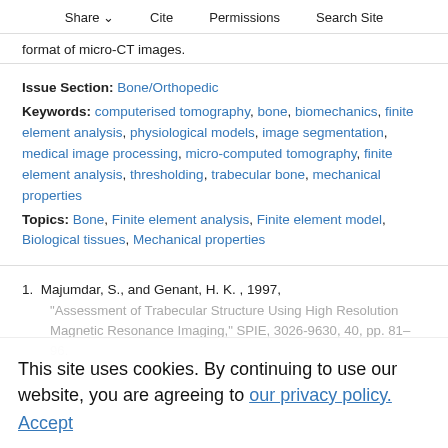Share  Cite  Permissions  Search Site
format of micro-CT images.
Issue Section: Bone/Orthopedic
Keywords: computerised tomography, bone, biomechanics, finite element analysis, physiological models, image segmentation, medical image processing, micro-computed tomography, finite element analysis, thresholding, trabecular bone, mechanical properties
Topics: Bone, Finite element analysis, Finite element model, Biological tissues, Mechanical properties
1. Majumdar, S., and Genant, H. K. , 1997, "Assessment of Trabecular Structure Using High Resolution Magnetic Resonance Imaging," SPIE, 3026-9630, 40, pp. 81–96.
This site uses cookies. By continuing to use our website, you are agreeing to our privacy policy. Accept